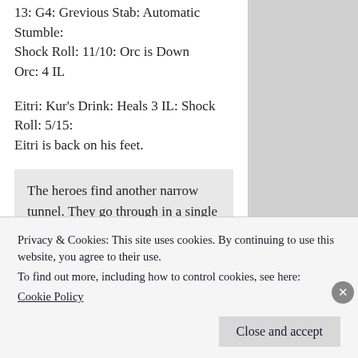13: G4: Grevious Stab: Automatic Stumble: Shock Roll: 11/10: Orc is Down
Orc: 4 IL
Eitri: Kur's Drink: Heals 3 IL: Shock Roll: 5/15: Eitri is back on his feet.
The heroes find another narrow tunnel. They go through in a single file, the dwarf in front, the elf in the middle, and the thief in the rear. Suddenly the door at the end of the hall swings open, and a foul orc, lifts its gleaming black axe and marches towards them.
Eitri engages in combat, but he misses the orc, who counterstrikes, without trying to
Privacy & Cookies: This site uses cookies. By continuing to use this website, you agree to their use.
To find out more, including how to control cookies, see here:
Cookie Policy
Close and accept